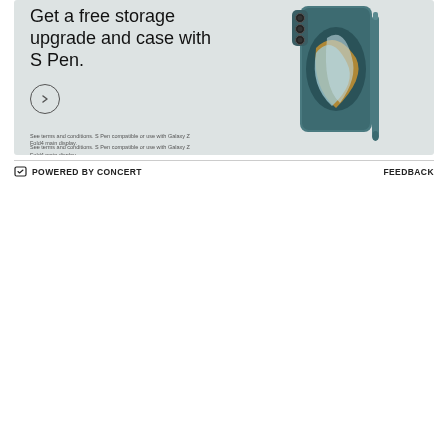[Figure (illustration): Samsung Galaxy Z Fold4 advertisement showing a teal/dark green phone with S Pen case. Text reads: Get a free storage upgrade and case with S Pen. Arrow circle button. Disclaimer text: See terms and conditions. S Pen compatible or use with Galaxy Z Fold4 main display.]
POWERED BY CONCERT
FEEDBACK